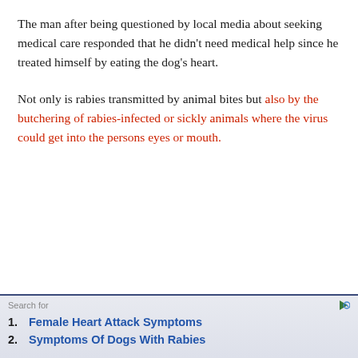The man after being questioned by local media about seeking medical care responded that he didn't need medical help since he treated himself by eating the dog's heart.
Not only is rabies transmitted by animal bites but also by the butchering of rabies-infected or sickly animals where the virus could get into the persons eyes or mouth.
Search for
1. Female Heart Attack Symptoms
2. Symptoms Of Dogs With Rabies